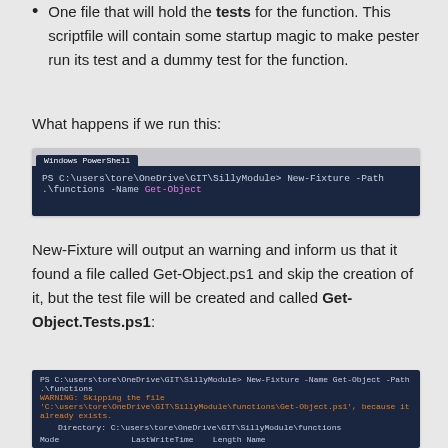One file that will hold the tests for the function. This scriptfile will contain some startup magic to make pester run its test and a dummy test for the function.
What happens if we run this:
[Figure (screenshot): Terminal window showing command: PS C:\users\tore\OneDrive\GIT\SillyModule> New-Fixture -Path .\functions -Name Get-Object]
New-Fixture will output an warning and inform us that it found a file called Get-Object.ps1 and skip the creation of it, but the test file will be created and called Get-Object.Tests.ps1:
[Figure (screenshot): Terminal window showing: PS C:\users\tore\OneDrive\GIT\SillyModule> New-Fixture -Name Get-Object -Path .\functions; WARNING: Skipping the file 'C:\users\tore\OneDrive\GIT\SillyModule\functions\Get-Object.ps1', because it already exists.; Directory: C:\users\tore\OneDrive\GIT\SillyModule\functions; Mode LastWriteTime Length Name; -a--- 15.02.2015 22:14 261 Get-Object.Tests.ps1; PS C:\users\tore\OneDrive\GIT\SillyModule>]